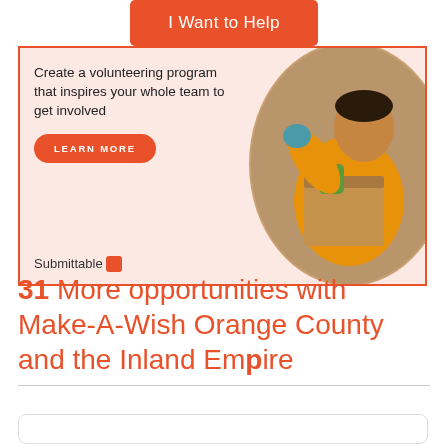[Figure (infographic): Advertisement banner with orange 'I Want to Help' button at top, text 'Create a volunteering program that inspires your whole team to get involved', orange 'LEARN MORE' button, a photo of a man in orange shirt volunteering with boxes, and Submittable logo at the bottom.]
31 More opportunities with Make-A-Wish Orange County and the Inland Empire